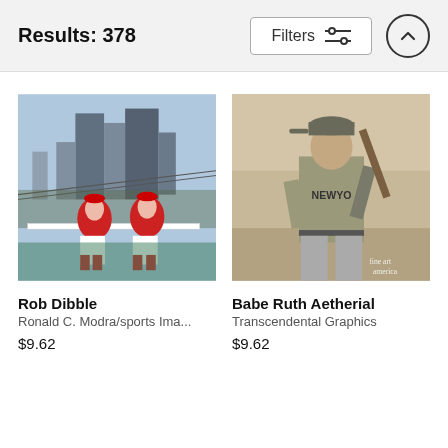Results: 378
[Figure (screenshot): Filters button with sliders icon and up-arrow circle button in header bar]
[Figure (photo): Two Cincinnati Reds baseball players (Rob Dibble and teammate) sitting on a railing at a stadium with a city skyline in the background]
Rob Dibble
Ronald C. Modra/sports Ima...
$9.62
[Figure (photo): Vintage sepia-toned photo of Babe Ruth in New York Yankees uniform holding a baseball bat, with 'fine art america' watermark]
Babe Ruth Aetherial
Transcendental Graphics
$9.62